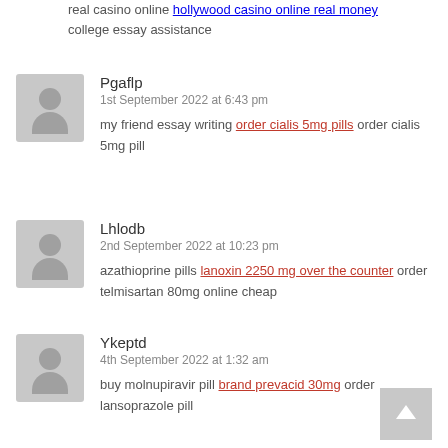real casino online hollywood casino online real money college essay assistance
Pgaflp
1st September 2022 at 6:43 pm
my friend essay writing order cialis 5mg pills order cialis 5mg pill
Lhlodb
2nd September 2022 at 10:23 pm
azathioprine pills lanoxin 2250 mg over the counter order telmisartan 80mg online cheap
Ykeptd
4th September 2022 at 1:32 am
buy molnupiravir pill brand prevacid 30mg order lansoprazole pill